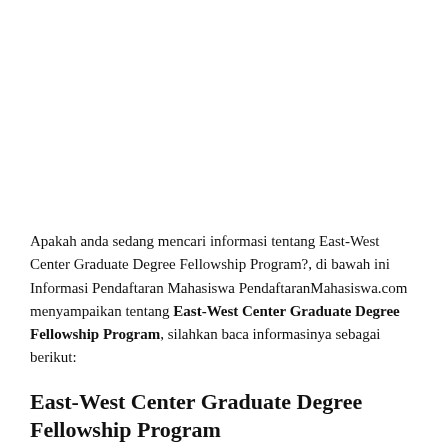Apakah anda sedang mencari informasi tentang East-West Center Graduate Degree Fellowship Program?, di bawah ini Informasi Pendaftaran Mahasiswa PendaftaranMahasiswa.com menyampaikan tentang East-West Center Graduate Degree Fellowship Program, silahkan baca informasinya sebagai berikut:
East-West Center Graduate Degree Fellowship Program